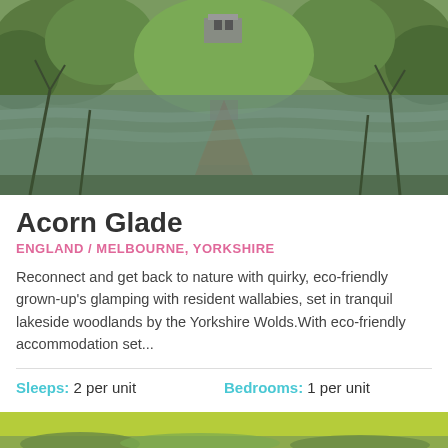[Figure (photo): Photo of Acorn Glade treehouse reflected in a lake surrounded by woodland trees]
Acorn Glade
ENGLAND / MELBOURNE, YORKSHIRE
Reconnect and get back to nature with quirky, eco-friendly grown-up's glamping with resident wallabies, set in tranquil lakeside woodlands by the Yorkshire Wolds.With eco-friendly accommodation set...
Sleeps: 2 per unit   Bedrooms: 1 per unit
[Figure (photo): Partial photo of woodland scene at bottom of page]